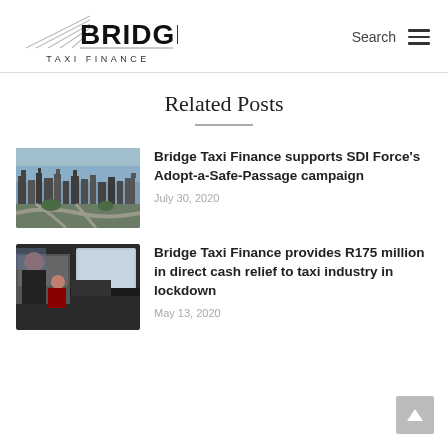[Figure (logo): Bridge Taxi Finance logo with angular bridge graphic and 'BRIDGE TAXI FINANCE' text]
Related Posts
[Figure (photo): Aerial city skyline photo with highway interchange]
Bridge Taxi Finance supports SDI Force's Adopt-a-Safe-Passage campaign
July 30, 2020
[Figure (photo): Interior of taxi van with driver and passenger]
Bridge Taxi Finance provides R175 million in direct cash relief to taxi industry in lockdown
May 13, 2020